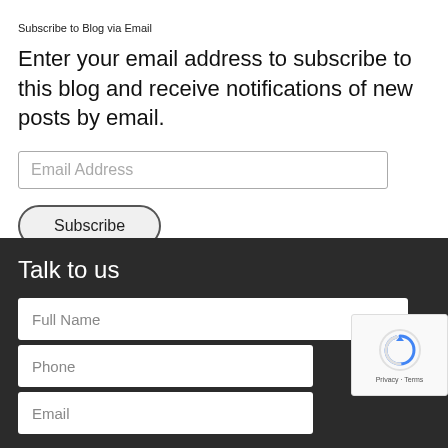Subscribe to Blog via Email
Enter your email address to subscribe to this blog and receive notifications of new posts by email.
Email Address
Subscribe
Talk to us
Full Name
Phone
Email